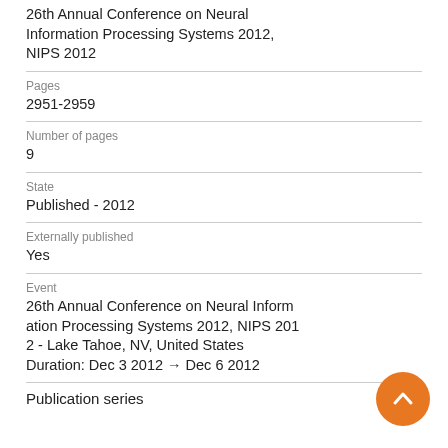26th Annual Conference on Neural Information Processing Systems 2012, NIPS 2012
Pages
2951-2959
Number of pages
9
State
Published - 2012
Externally published
Yes
Event
26th Annual Conference on Neural Information Processing Systems 2012, NIPS 2012 - Lake Tahoe, NV, United States
Duration: Dec 3 2012 → Dec 6 2012
Publication series